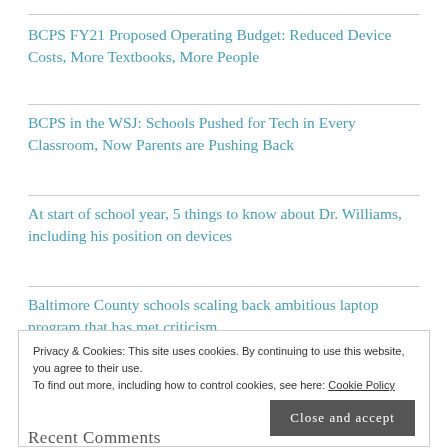BCPS FY21 Proposed Operating Budget: Reduced Device Costs, More Textbooks, More People
BCPS in the WSJ: Schools Pushed for Tech in Every Classroom, Now Parents are Pushing Back
At start of school year, 5 things to know about Dr. Williams, including his position on devices
Baltimore County schools scaling back ambitious laptop program that has met criticism
Privacy & Cookies: This site uses cookies. By continuing to use this website, you agree to their use. To find out more, including how to control cookies, see here: Cookie Policy
Recent Comments